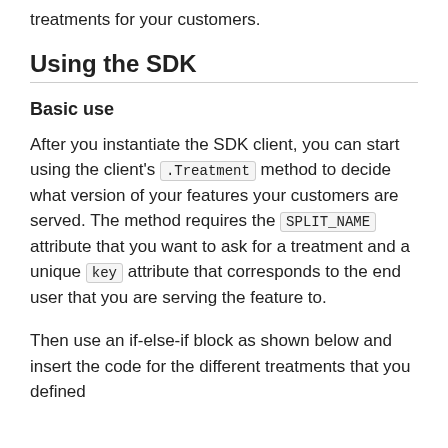treatments for your customers.
Using the SDK
Basic use
After you instantiate the SDK client, you can start using the client's .Treatment method to decide what version of your features your customers are served. The method requires the SPLIT_NAME attribute that you want to ask for a treatment and a unique key attribute that corresponds to the end user that you are serving the feature to.
Then use an if-else-if block as shown below and insert the code for the different treatments that you defined